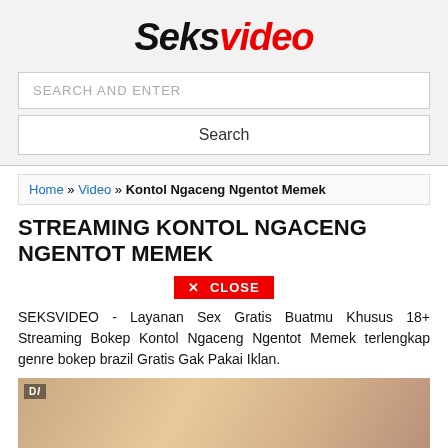Seksvideo
SEARCH AND ENTER
Search
Home » Video » Kontol Ngaceng Ngentot Memek
STREAMING KONTOL NGACENG NGENTOT MEMEK
✕ CLOSE
SEKSVIDEO - Layanan Sex Gratis Buatmu Khusus 18+ Streaming Bokep Kontol Ngaceng Ngentot Memek terlengkap genre bokep brazil Gratis Gak Pakai Iklan.
[Figure (photo): Thumbnail image of a woman with dark hair, partially visible, with a 'DI' watermark overlay in the top-left corner]